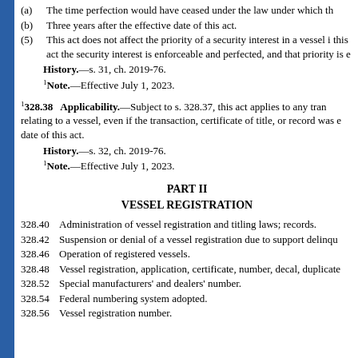(a) The time perfection would have ceased under the law under which th
(b) Three years after the effective date of this act.
(5) This act does not affect the priority of a security interest in a vessel i this act the security interest is enforceable and perfected, and that priority is e
History.—s. 31, ch. 2019-76.
1Note.—Effective July 1, 2023.
1328.38 Applicability.—Subject to s. 328.37, this act applies to any tran relating to a vessel, even if the transaction, certificate of title, or record was e date of this act.
History.—s. 32, ch. 2019-76.
1Note.—Effective July 1, 2023.
PART II
VESSEL REGISTRATION
328.40 Administration of vessel registration and titling laws; records.
328.42 Suspension or denial of a vessel registration due to support delinqu
328.46 Operation of registered vessels.
328.48 Vessel registration, application, certificate, number, decal, duplicate
328.52 Special manufacturers' and dealers' number.
328.54 Federal numbering system adopted.
328.56 Vessel registration number.